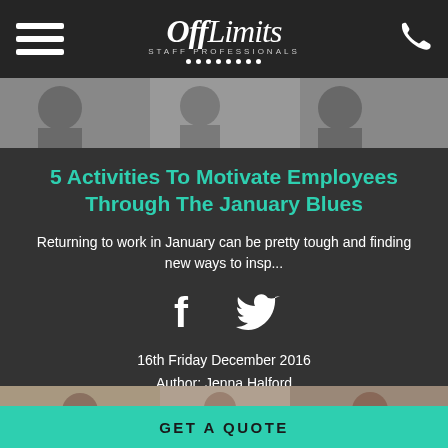Off Limits - Staff Professionals
[Figure (photo): Header image showing people at work]
5 Activities To Motivate Employees Through The January Blues
Returning to work in January can be pretty tough and finding new ways to insp...
[Figure (infographic): Facebook and Twitter social share icons]
16th Friday December 2016
Author: Jenna Halford
READ MORE
[Figure (photo): Bottom image showing people smiling]
GET A QUOTE